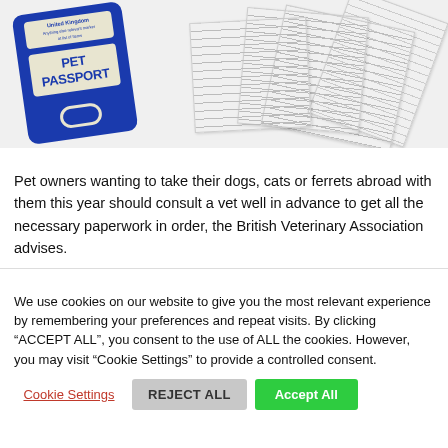[Figure (photo): Photo of a blue UK Pet Passport card with white label on the left, and a stack of veterinary/travel documents on the right]
Pet owners wanting to take their dogs, cats or ferrets abroad with them this year should consult a vet well in advance to get all the necessary paperwork in order, the British Veterinary Association advises.
We use cookies on our website to give you the most relevant experience by remembering your preferences and repeat visits. By clicking “ACCEPT ALL”, you consent to the use of ALL the cookies. However, you may visit “Cookie Settings” to provide a controlled consent.
Cookie Settings | REJECT ALL | Accept All